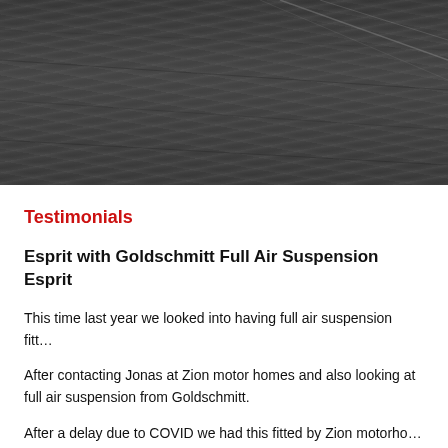[Figure (photo): Aerial or close-up view of a dark asphalt road surface with subtle lane markings visible in the upper right]
Testimonials
Esprit with Goldschmitt Full Air Suspension Esprit
This time last year we looked into having full air suspension fitt…
After contacting Jonas at Zion motor homes and also looking at… full air suspension from Goldschmitt.
After a delay due to COVID we had this fitted by Zion motorho…